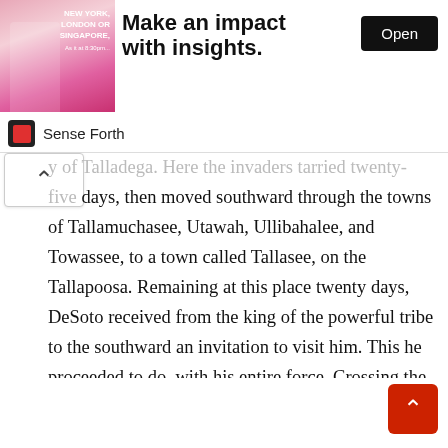[Figure (other): Advertisement banner with person in suit and text 'NEW YORK, LONDON OR SINGAPORE,' and headline 'Make an impact with insights.' with an Open button]
Sense Forth
y of Talladega. Here the invaders tarried twenty-five days, then moved southward through the towns of Tallamuchasee, Utawah, Ullibahalee, and Towassee, to a town called Tallasee, on the Tallapoosa. Remaining at this place twenty days, DeSoto received from the king of the powerful tribe to the southward an invitation to visit him. This he proceeded to do, with his entire force. Crossing the river, and pursuing a southwest direction, a march of two days duration brought them face to face with the Indian king, a giant, name Tuskaloosa. This haughty prince accompanied his armed guests to a fortified town on the Alabama river, called Piachee. [1]